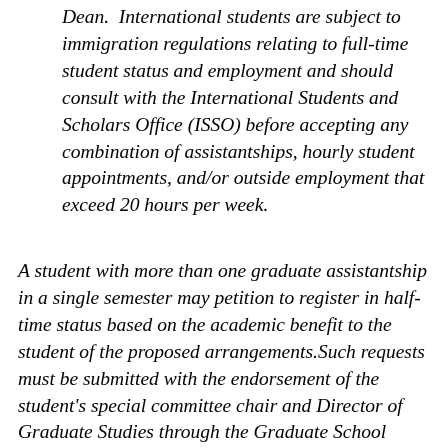Dean.  International students are subject to immigration regulations relating to full-time student status and employment and should consult with the International Students and Scholars Office (ISSO) before accepting any combination of assistantships, hourly student appointments, and/or outside employment that exceed 20 hours per week.
A student with more than one graduate assistantship in a single semester may petition to register in half-time status based on the academic benefit to the student of the proposed arrangements.Such requests must be submitted with the endorsement of the student's special committee chair and Director of Graduate Studies through the Graduate School petition process; prior written approval from the dean of the Graduate